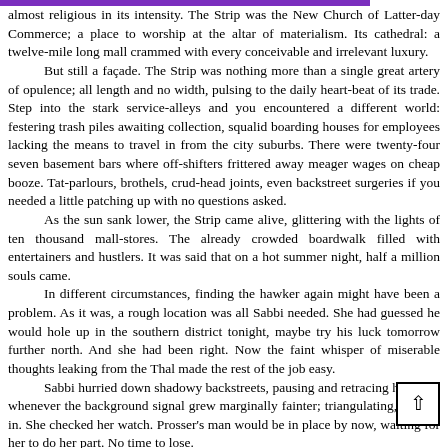almost religious in its intensity. The Strip was the New Church of Latter-day Commerce; a place to worship at the altar of materialism. Its cathedral: a twelve-mile long mall crammed with every conceivable and irrelevant luxury.

But still a façade. The Strip was nothing more than a single great artery of opulence; all length and no width, pulsing to the daily heart-beat of its trade. Step into the stark service-alleys and you encountered a different world: festering trash piles awaiting collection, squalid boarding houses for employees lacking the means to travel in from the city suburbs. There were twenty-four seven basement bars where off-shifters frittered away meager wages on cheap booze. Tat-parlours, brothels, crud-head joints, even backstreet surgeries if you needed a little patching up with no questions asked.

As the sun sank lower, the Strip came alive, glittering with the lights of ten thousand mall-stores. The already crowded boardwalk filled with entertainers and hustlers. It was said that on a hot summer night, half a million souls came.

In different circumstances, finding the hawker again might have been a problem. As it was, a rough location was all Sabbi needed. She had guessed he would hole up in the southern district tonight, maybe try his luck tomorrow further north. And she had been right. Now the faint whisper of miserable thoughts leaking from the Thal made the rest of the job easy.

Sabbi hurried down shadowy backstreets, pausing and retracing her steps whenever the background signal grew marginally fainter; triangulating, closing in. She checked her watch. Prosser's man would be in place by now, waiting for her to do her part. No time to lose.

She stared at the box-panel van parked up at the far end of an access road, as far away from people as possible. The thudding pulse of a juke-box rose from a basement bar on the other side of the street. As she passed by the van experimentally, the background static from the Thal's mind grew suddenly loud as though someone had twisted a dial.

He was here.

The driver's cab was empty and there was no sign of the hawker.